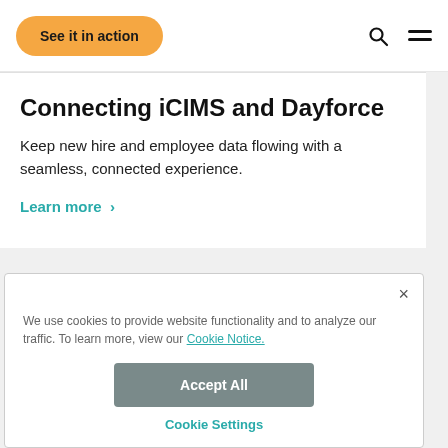See it in action
Connecting iCIMS and Dayforce
Keep new hire and employee data flowing with a seamless, connected experience.
Learn more >
We use cookies to provide website functionality and to analyze our traffic. To learn more, view our Cookie Notice.
Accept All
Cookie Settings